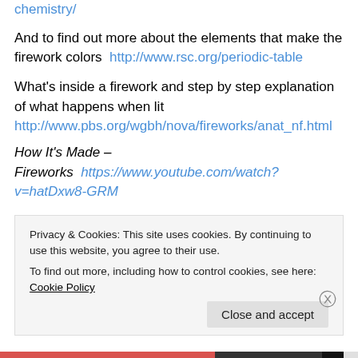chemistry/
And to find out more about the elements that make the firework colors  http://www.rsc.org/periodic-table
What's inside a firework and step by step explanation of what happens when lit
http://www.pbs.org/wgbh/nova/fireworks/anat_nf.html
How It's Made –
Fireworks  https://www.youtube.com/watch?v=hatDxw8-GRM
Privacy & Cookies: This site uses cookies. By continuing to use this website, you agree to their use.
To find out more, including how to control cookies, see here: Cookie Policy
Close and accept